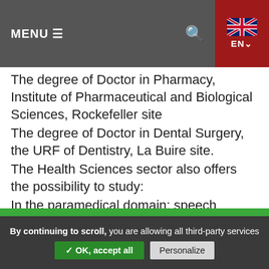MENU ≡  🔍  EN
The degree of Doctor in Pharmacy, Institute of Pharmaceutical and Biological Sciences, Rockefeller site
The degree of Doctor in Dental Surgery, the URF of Dentistry, La Buire site.
The Health Sciences sector also offers the possibility to study:
In the paramedical domain: speech therapy, orthoptist, psychomotricity, audio-prosthesis, masso-linesitherapie/physical therapy and ergo therapy at the Institute for Techniques of Rehabilitation
Human Biology: Masters, Pre-doctorate etc.
UCBL is headed by a president who is elected for a 5-year term. The current president is Professor, Lionel
By continuing to scroll, you are allowing all third-party services  ✓ OK, accept all  Personalize